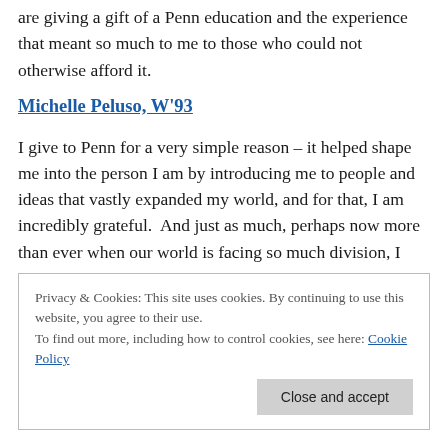are giving a gift of a Penn education and the experience that meant so much to me to those who could not otherwise afford it.
Michelle Peluso, W'93
I give to Penn for a very simple reason – it helped shape me into the person I am by introducing me to people and ideas that vastly expanded my world, and for that, I am incredibly grateful.  And just as much, perhaps now more than ever when our world is facing so much division, I
Privacy & Cookies: This site uses cookies. By continuing to use this website, you agree to their use.
To find out more, including how to control cookies, see here: Cookie Policy